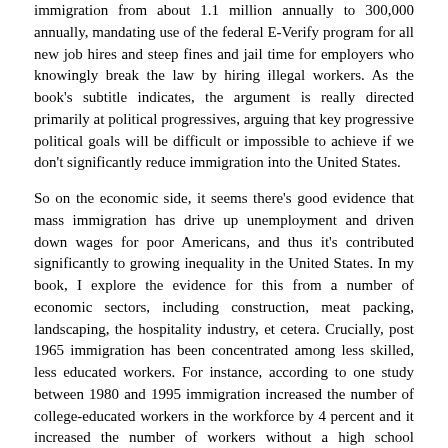immigration from about 1.1 million annually to 300,000 annually, mandating use of the federal E-Verify program for all new job hires and steep fines and jail time for employers who knowingly break the law by hiring illegal workers. As the book's subtitle indicates, the argument is really directed primarily at political progressives, arguing that key progressive political goals will be difficult or impossible to achieve if we don't significantly reduce immigration into the United States.
So on the economic side, it seems there's good evidence that mass immigration has drive up unemployment and driven down wages for poor Americans, and thus it's contributed significantly to growing inequality in the United States. In my book, I explore the evidence for this from a number of economic sectors, including construction, meat packing, landscaping, the hospitality industry, et cetera. Crucially, post 1965 immigration has been concentrated among less skilled, less educated workers. For instance, according to one study between 1980 and 1995 immigration increased the number of college-educated workers in the workforce by 4 percent and it increased the number of workers without a high school diploma by 21 percent.
And the results of this have been predictable. In economic sectors with large percentages of immigrant workers, wages have been